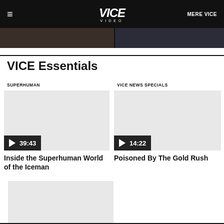VICE VIDEO — MERE VICE
[Figure (screenshot): Two dark video thumbnail images cropped at top]
VICE Essentials
SUPERHUMAN
[Figure (screenshot): Video thumbnail placeholder with play button showing 39:43]
Inside the Superhuman World of the Iceman
VICE NEWS SPECIALS
[Figure (screenshot): Video thumbnail placeholder with play button showing 14:22]
Poisoned By The Gold Rush